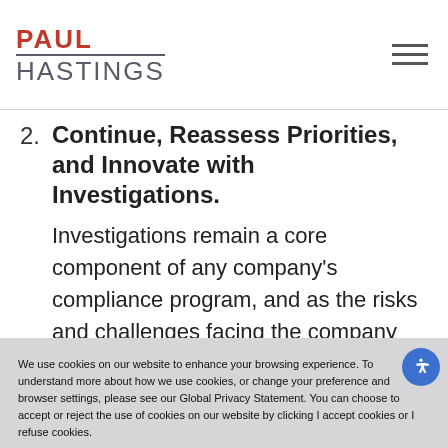PAUL HASTINGS
2. Continue, Reassess Priorities, and Innovate with Investigations.
Investigations remain a core component of any company's compliance program, and as the risks and challenges facing the company
We use cookies on our website to enhance your browsing experience. To understand more about how we use cookies, or change your preference and browser settings, please see our Global Privacy Statement. You can choose to accept or reject the use of cookies on our website by clicking I accept cookies or I refuse cookies.

Please note that if you choose to reject cookies, doing so may impair some of our website's functionality.
I ACCEPT
I Refuse